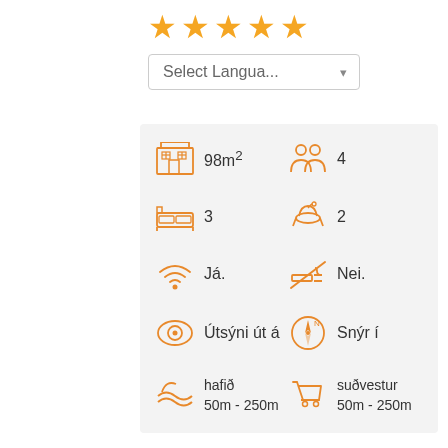[Figure (infographic): Five orange star rating icons]
[Figure (infographic): Language selection dropdown: 'Select Langua...' with dropdown arrow]
[Figure (infographic): Property info panel with icons and stats: house icon 98m2, people icon 4, bed icon 3, bathroom icon 2, wifi icon Já., no-smoking icon Nei., view icon Útsýni út á, compass icon Snýr í, beach/waves icon hafið 50m-250m, cart icon suðvestur 50m-250m]